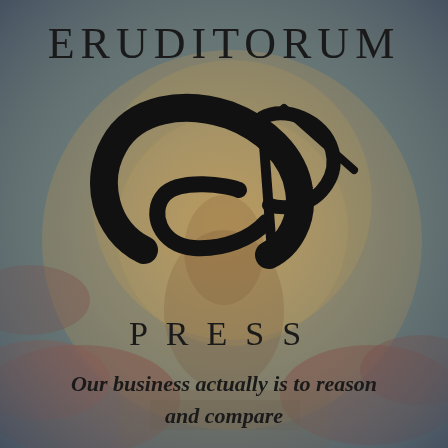[Figure (logo): Eruditorum Press logo page with a William Blake-style painting background showing a crouching human figure with a circular glowing disc, clouds in red and brown tones. Overlaid with the Eruditorum Press logo (stylized 'EP' monogram in black calligraphy), the publisher name 'ERUDITORUM' and 'PRESS', and the tagline 'Our business actually is to reason and compare'.]
ERUDITORUM
PRESS
Our business actually is to reason and compare